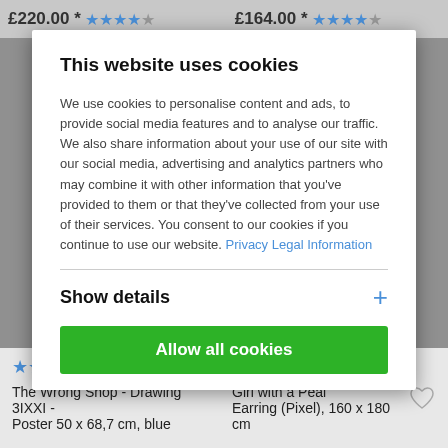£220.00 * ★★★★☆   £164.00 * ★★★★☆
This website uses cookies
We use cookies to personalise content and ads, to provide social media features and to analyse our traffic. We also share information about your use of our site with our social media, advertising and analytics partners who may combine it with other information that you've provided to them or that they've collected from your use of their services. You consent to our cookies if you continue to use our website. Privacy Legal Information
Show details
Allow all cookies
★★★★★
The Wrong Shop - Drawing 3IXXI - Girl with a Peal
Poster 50 x 68,7 cm, blue      Earring (Pixel), 160 x 180 cm